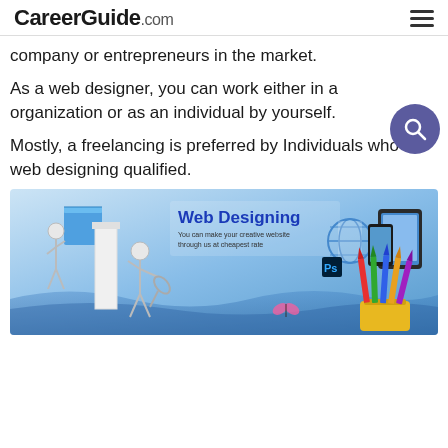CareerGuide.com
company or entrepreneurs in the market.
As a web designer, you can work either in a organization or as an individual by yourself.
Mostly, a freelancing is preferred by Individuals who are web designing qualified.
[Figure (illustration): Web Designing promotional banner with stick figures building a structure, tablet and phone devices, colorful pencils, globe icon, and text 'Web Designing - You can make your creative website through us at cheapest rate']